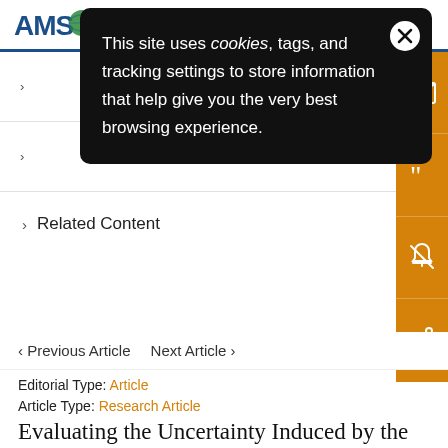AMS (American Meteorological Society)
[Figure (screenshot): Cookie consent popup with dark background reading: This site uses cookies, tags, and tracking settings to store information that help give you the very best browsing experience.]
Related Content
< Previous Article   Next Article >
Editorial Type: Article
Article Type: Research Article
Evaluating the Uncertainty Induced by the Virtual Salt Flux Assumption in